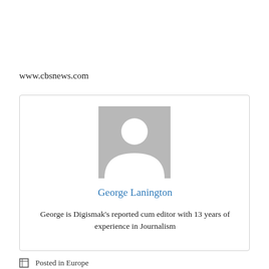www.cbsnews.com
[Figure (photo): Generic gray placeholder avatar/profile image with white silhouette of a person (head and shoulders)]
George Lanington
George is Digismak's reported cum editor with 13 years of experience in Journalism
Posted in Europe